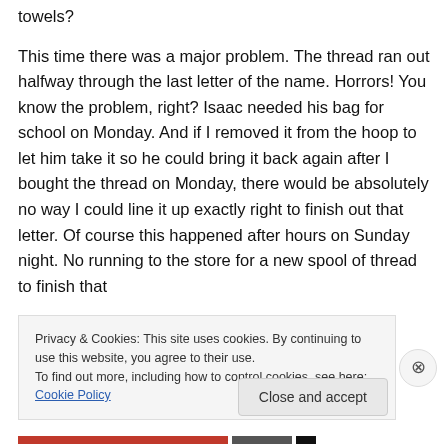…Did you bring your bathroom amenities: some towels?
This time there was a major problem.  The thread ran out halfway through the last letter of the name.  Horrors!  You know the problem, right?  Isaac needed his bag for school on Monday.  And if I removed it from the hoop to let him take it so he could bring it back again after I bought the thread on Monday, there would be absolutely no way I could line it up exactly right to finish out that letter.   Of course this happened after hours on Sunday night.  No running to the store for a new spool of thread to finish that
Privacy & Cookies: This site uses cookies. By continuing to use this website, you agree to their use.
To find out more, including how to control cookies, see here: Cookie Policy
Close and accept